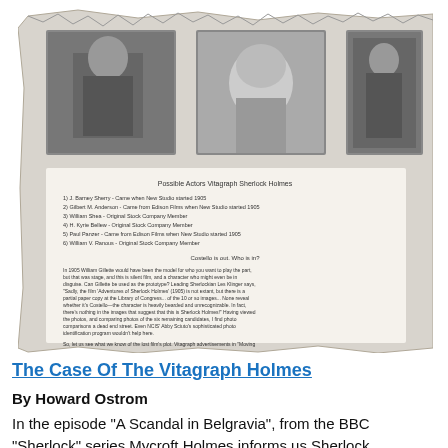[Figure (photo): A composite image showing a torn/aged paper background with three black-and-white historical photographs of men at the top, and below them a handwritten/typed document listing possible actors for Vitagraph Sherlock Holmes with body text about William Gillette and the lost film.]
The Case Of The Vitagraph Holmes
By Howard Ostrom
In the episode "A Scandal in Belgravia", from the BBC "Sherlock" series Mycroft Holmes informs us Sherlock